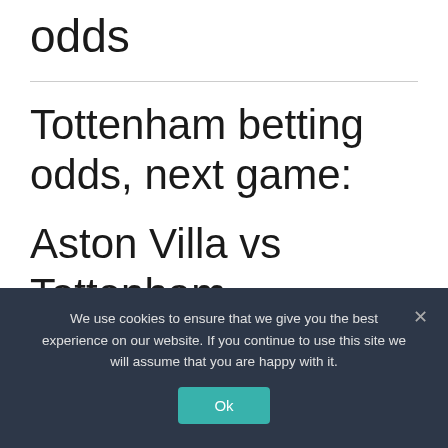odds
Tottenham betting odds, next game:
Aston Villa vs Tottenham odds: result, both teams
We use cookies to ensure that we give you the best experience on our website. If you continue to use this site we will assume that you are happy with it.